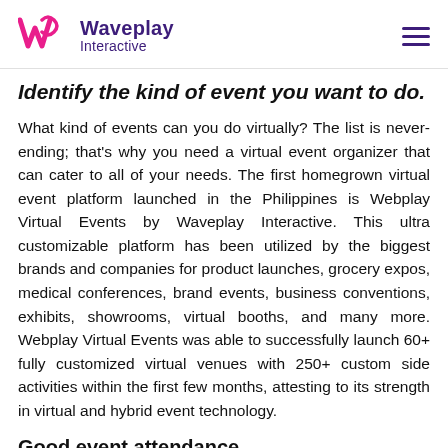Waveplay Interactive
Identify the kind of event you want to do.
What kind of events can you do virtually? The list is never-ending; that's why you need a virtual event organizer that can cater to all of your needs. The first homegrown virtual event platform launched in the Philippines is Webplay Virtual Events by Waveplay Interactive. This ultra customizable platform has been utilized by the biggest brands and companies for product launches, grocery expos, medical conferences, brand events, business conventions, exhibits, showrooms, virtual booths, and many more. Webplay Virtual Events was able to successfully launch 60+ fully customized virtual venues with 250+ custom side activities within the first few months, attesting to its strength in virtual and hybrid event technology.
Good event attendance
One advantage of hybrid and virtual events is that